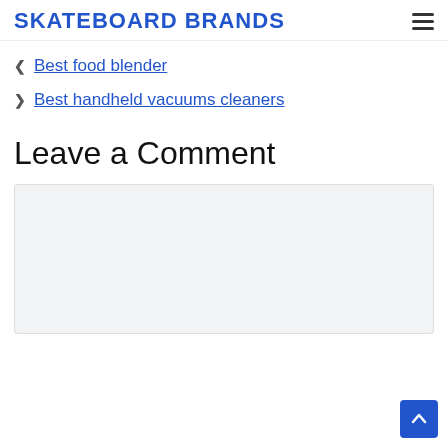SKATEBOARD BRANDS
Best food blender
Best handheld vacuums cleaners
Leave a Comment